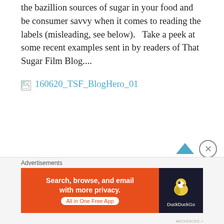the bazillion sources of sugar in your food and be consumer savvy when it comes to reading the labels (misleading, see below).   Take a peek at some recent examples sent in by readers of That Sugar Film Blog....
[Figure (other): Broken image placeholder with link text '160620_TSF_BlogHero_01' in cyan/teal color]
Advertisements
[Figure (other): DuckDuckGo advertisement banner: orange left panel with 'Search, browse, and email with more privacy. All in One Free App', dark right panel with DuckDuckGo duck logo]